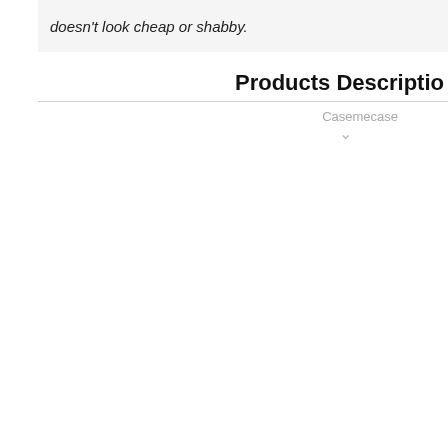doesn't look cheap or shabby.
Products Description
Casemecase